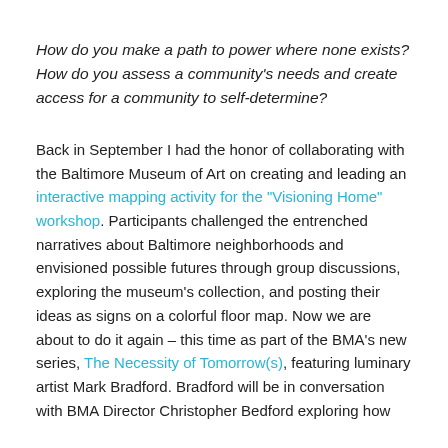How do you make a path to power where none exists? How do you assess a community's needs and create access for a community to self-determine?
Back in September I had the honor of collaborating with the Baltimore Museum of Art on creating and leading an interactive mapping activity for the "Visioning Home" workshop. Participants challenged the entrenched narratives about Baltimore neighborhoods and envisioned possible futures through group discussions, exploring the museum's collection, and posting their ideas as signs on a colorful floor map. Now we are about to do it again – this time as part of the BMA's new series, The Necessity of Tomorrow(s), featuring luminary artist Mark Bradford. Bradford will be in conversation with BMA Director Christopher Bedford exploring how